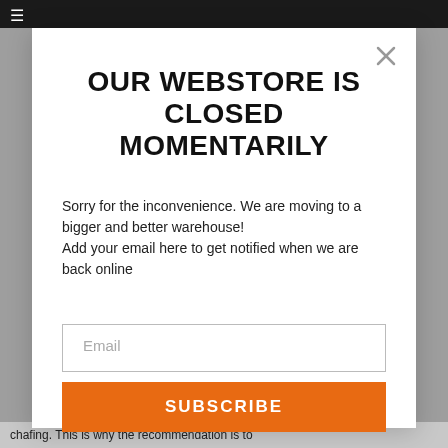≡
OUR WEBSTORE IS CLOSED MOMENTARILY
Sorry for the inconvenience. We are moving to a bigger and better warehouse!
Add your email here to get notified when we are back online
Email
SUBSCRIBE
chafing. This is why the recommendation is to